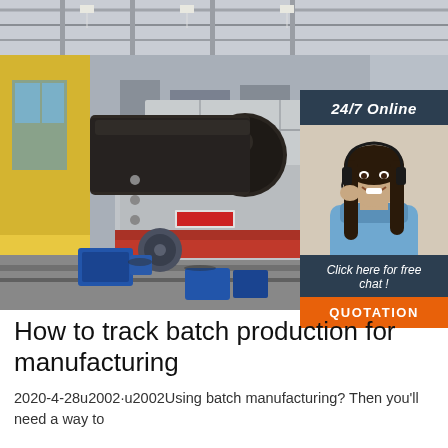[Figure (photo): Industrial manufacturing facility showing a large metal pipe/cylinder being processed on a heavy milling or turning machine. Yellow and gray machinery visible, blue motors at bottom, industrial warehouse setting with steel roof trusses.]
[Figure (photo): Overlay advertisement panel with dark blue header reading '24/7 Online', a photo of a smiling woman with a headset (customer support), text 'Click here for free chat!' and an orange button reading 'QUOTATION'.]
How to track batch production for manufacturing
2020-4-28u2002·u2002Using batch manufacturing? Then you'll need a way to